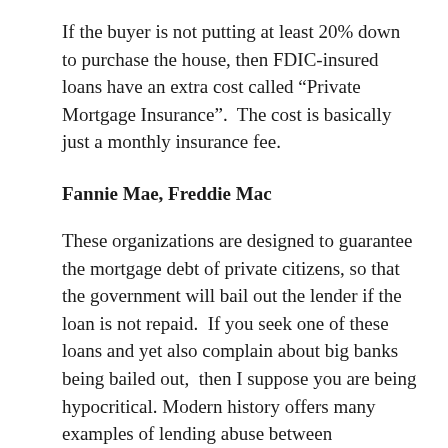If the buyer is not putting at least 20% down to purchase the house, then FDIC-insured loans have an extra cost called “Private Mortgage Insurance”.  The cost is basically just a monthly insurance fee.
Fannie Mae, Freddie Mac
These organizations are designed to guarantee the mortgage debt of private citizens, so that the government will bail out the lender if the loan is not repaid.  If you seek one of these loans and yet also complain about big banks being bailed out,  then I suppose you are being hypocritical. Modern history offers many examples of lending abuse between individuals, banks, and nations. It seems most people don’t even know that international financiers frequently fund both sides of the same war! For an in-depth analysis, I recommend the